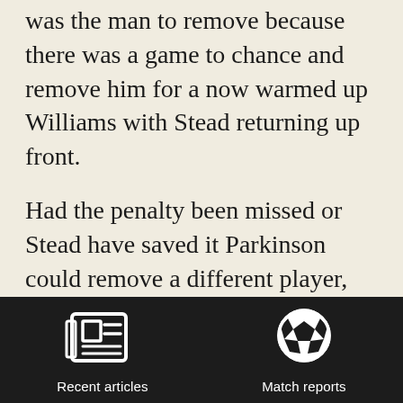was the man to remove because there was a game to chance and remove him for a now warmed up Williams with Stead returning up front.
Had the penalty been missed or Stead have saved it Parkinson could remove a different player, probably Stead, and tried to grind out a victory with the eight players in defensive position as he has previously.
[Figure (other): Navigation bar with two icons: a newspaper/articles icon labeled 'Recent articles' and a soccer ball icon labeled 'Match reports', on a dark background.]